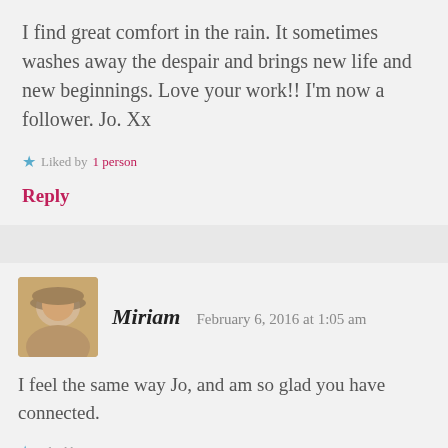I find great comfort in the rain. It sometimes washes away the despair and brings new life and new beginnings. Love your work!! I'm now a follower. Jo. Xx
★ Liked by 1 person
Reply
Miriam  February 6, 2016 at 1:05 am
I feel the same way Jo, and am so glad you have connected.
★ Liked by 1 person
Reply